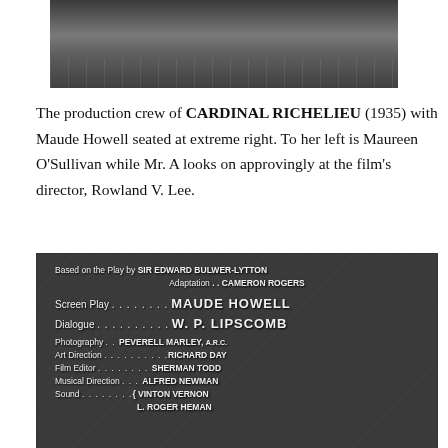[Figure (photo): Black and white photograph of the production crew of Cardinal Richelieu (1935), partially visible at top of page, showing people on a set with tiled floor.]
The production crew of CARDINAL RICHELIEU (1935) with Maude Howell seated at extreme right. To her left is Maureen O'Sullivan while Mr. A looks on approvingly at the film's director, Rowland V. Lee.
[Figure (photo): Black and white film credits card from Cardinal Richelieu (1935) showing: Based on the Play by SIR EDWARD BULWER-LYTTON, Adaptation CAMERON ROGERS, Screen Play MAUDE HOWELL, Dialogue W. P. LIPSCOMB, Photography PEVERELL MARLEY A.R.C., Art Direction RICHARD DAY, Film Editor SHERMAN TODD, Musical Direction ALFRED NEWMAN, Sound VINTON VERNON / L. ROGER HEMAN]